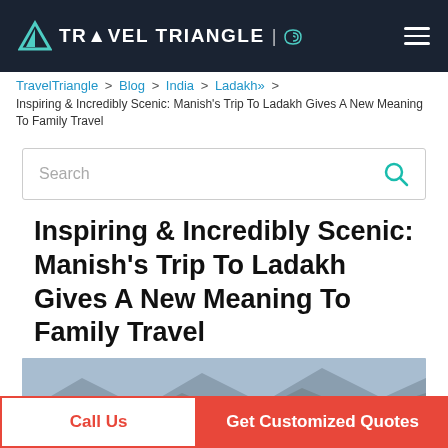TRAVEL TRIANGLE
TravelTriangle > Blog > India > Ladakh» > Inspiring & Incredibly Scenic: Manish's Trip To Ladakh Gives A New Meaning To Family Travel
Search
Inspiring & Incredibly Scenic: Manish's Trip To Ladakh Gives A New Meaning To Family Travel
[Figure (photo): Family group photo taken in Ladakh with rocky mountain landscape in the background]
Call Us
Get Customized Quotes